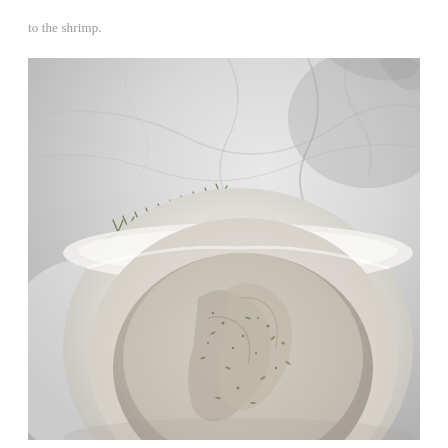to the shrimp.
[Figure (photo): Overhead shot of a round white bowl containing raw shrimp seasoned with herbs (rosemary) and spices on a marble surface. A sprig of fresh rosemary is placed to the left of the bowl on the marble background.]